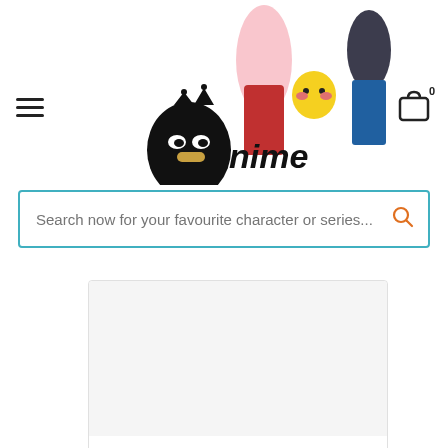[Figure (screenshot): Anime store website header with logo featuring a cartoon character mascot, Pikachu, and anime figures. Hamburger menu on left, shopping cart icon with 0 badge on right.]
Search now for your favourite character or series...
Classic Godzilla - 11-Inch PVC - Money Box
$00.00